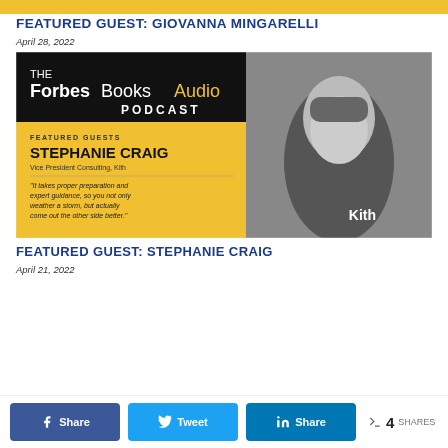[Figure (other): Golden/yellow top bar strip]
FEATURED GUEST: GIOVANNA MINGARELLI
April 28, 2022
[Figure (illustration): The Forbes Books Audio Podcast promotional image featuring Stephanie Craig, Vice President Consulting, Kith, with a quote: 'It takes proper preparation and expert guidance, so you not only weather a storm, but actually come out the other side better.' Black and white photo of a woman with long dark hair on right side, yellow/gold panel on left with text.]
FEATURED GUEST: STEPHANIE CRAIG
April 21, 2022